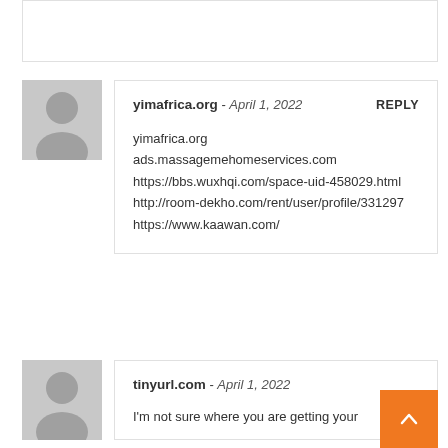(partial comment box at top)
yimafrica.org - April 1, 2022 REPLY
yimafrica.org
ads.massagemehomeservices.com
https://bbs.wuxhqi.com/space-uid-458029.html
http://room-dekho.com/rent/user/profile/331297
https://www.kaawan.com/
tinyurl.com - April 1, 2022
I'm not sure where you are getting your